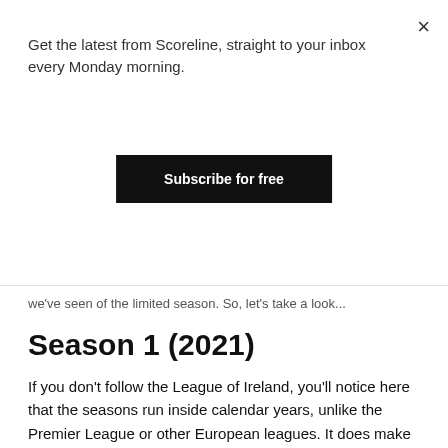Get the latest from Scoreline, straight to your inbox every Monday morning.
Subscribe for free
we've seen of the limited season. So, let's take a look...
Season 1 (2021)
If you don't follow the League of Ireland, you'll notice here that the seasons run inside calendar years, unlike the Premier League or other European leagues. It does make it tricky for Irish clubs that end up in European competitions but if that's all you have to deal with to play on the big stage, how bad.
Kick-off is 4 January 2021, earliest allowable date for the Irish...